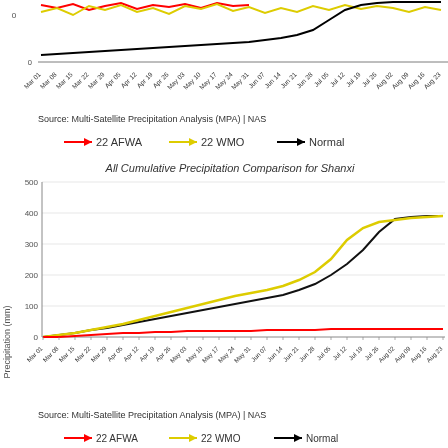[Figure (continuous-plot): Top partial cumulative precipitation line chart (cropped), showing three lines: 22 AFWA (red), 22 WMO (yellow), Normal (black), x-axis from Mar 01 to Aug 30]
Source: Multi-Satellite Precipitation Analysis (MPA) | NAS
[Figure (line-chart): Legend showing 22 AFWA (red line), 22 WMO (yellow line), Normal (black line)]
[Figure (continuous-plot): Cumulative precipitation line chart for Shanxi with three series: 22 AFWA (red, near zero), 22 WMO (yellow, rising steeply from Jul), Normal (black, steady rise to ~390mm by Aug 30). Y-axis 0-500 mm. X-axis Mar 01 to Aug 30.]
Source: Multi-Satellite Precipitation Analysis (MPA) | NAS